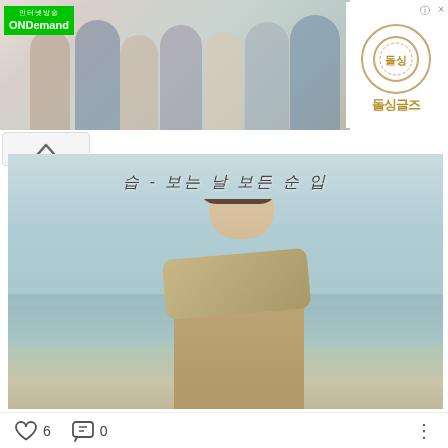[Figure (photo): ONDemand advertisement banner with group of Korean TV personalities and 돌싱글즈 (Dolsingles) show logo on the right]
[Figure (photo): Korean drama or album cover showing a young woman with short hair wrapped in a scarf, standing by the sea with Korean handwritten text at the top]
□□ □, □□ □□ - □□ / 2018
[Figure (photo): Partial bottom strip showing another photo]
6
0